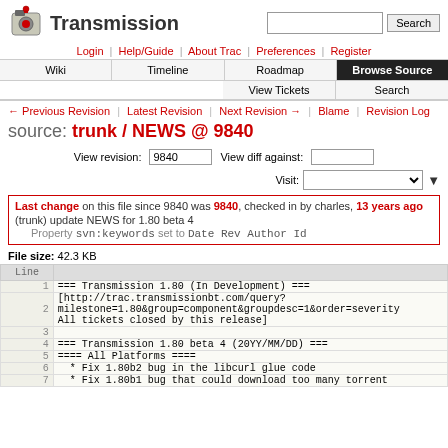Transmission - Browse Source
← Previous Revision | Latest Revision | Next Revision → | Blame | Revision Log
source: trunk / NEWS @ 9840
View revision: 9840   View diff against:   Visit:
Last change on this file since 9840 was 9840, checked in by charles, 13 years ago
(trunk) update NEWS for 1.80 beta 4
Property svn:keywords set to Date Rev Author Id
File size: 42.3 KB
| Line |  |
| --- | --- |
| 1 | === Transmission 1.80 (In Development) === |
| 2 | [http://trac.transmissionbt.com/query?milestone=1.80&group=component&groupdesc=1&order=severity
All tickets closed by this release] |
| 3 |  |
| 4 | === Transmission 1.80 beta 4 (20YY/MM/DD) === |
| 5 | ==== All Platforms ==== |
| 6 |   * Fix 1.80b2 bug in the libcurl glue code |
| 7 |   * Fix 1.80b1 bug that could download too many torrent |